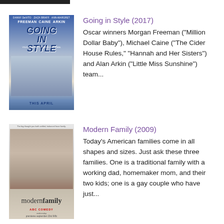[Figure (illustration): Movie poster for Going in Style (2017) showing three men walking, with names Freeman, Caine, Arkin at top]
Going in Style (2017)
Oscar winners Morgan Freeman (“Million Dollar Baby”), Michael Caine (“The Cider House Rules,” “Hannah and Her Sisters”) and Alan Arkin (“Little Miss Sunshine”) team...
[Figure (illustration): TV show poster for Modern Family (2009) showing group of people/family members with modern family logo at bottom]
Modern Family (2009)
Today’s American families come in all shapes and sizes. Just ask these three families. One is a traditional family with a working dad, homemaker mom, and their two kids; one is a gay couple who have just...